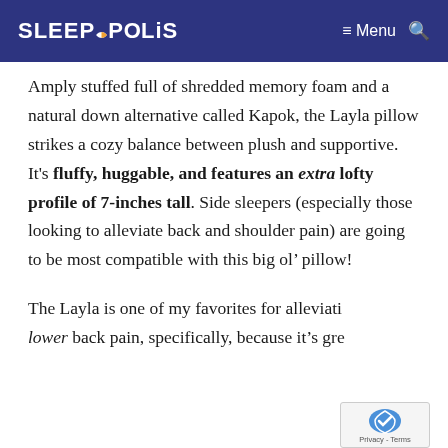SLEEPOPOLIS  ≡ Menu 🔍
Amply stuffed full of shredded memory foam and a natural down alternative called Kapok, the Layla pillow strikes a cozy balance between plush and supportive. It's fluffy, huggable, and features an extra lofty profile of 7-inches tall. Side sleepers (especially those looking to alleviate back and shoulder pain) are going to be most compatible with this big ol' pillow!
The Layla is one of my favorites for alleviating lower back pain, specifically, because it's great...